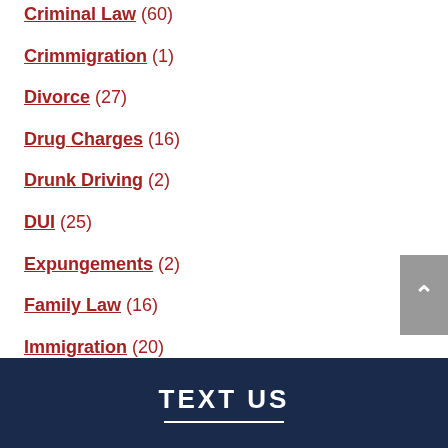Criminal Law (60)
Crimmigration (1)
Divorce (27)
Drug Charges (16)
Drunk Driving (2)
DUI (25)
Expungements (2)
Family Law (16)
Immigration (20)
Wills & Trusts (1)
TEXT US